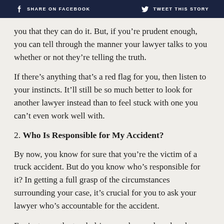SHARE ON FACEBOOK   TWEET THIS STORY
you that they can do it. But, if you’re prudent enough, you can tell through the manner your lawyer talks to you whether or not they’re telling the truth.
If there’s anything that’s a red flag for you, then listen to your instincts. It’ll still be so much better to look for another lawyer instead than to feel stuck with one you can’t even work well with.
2. Who Is Responsible for My Accident?
By now, you know for sure that you’re the victim of a truck accident. But do you know who’s responsible for it? In getting a full grasp of the circumstances surrounding your case, it’s crucial for you to ask your lawyer who’s accountable for the accident.
For instance, the truck driver can be employed under a company and was driving the company vehicle in his line